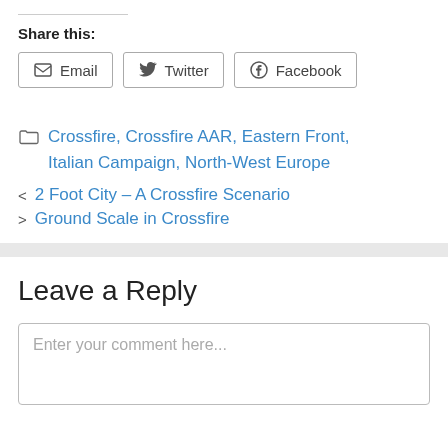Share this:
[Figure (other): Share buttons: Email, Twitter, Facebook]
Crossfire, Crossfire AAR, Eastern Front, Italian Campaign, North-West Europe
< 2 Foot City – A Crossfire Scenario
> Ground Scale in Crossfire
Leave a Reply
Enter your comment here...